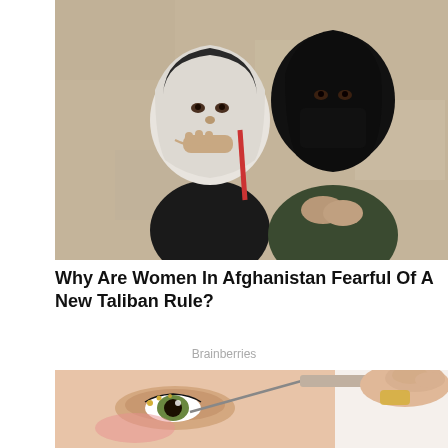[Figure (photo): Two women wearing headscarves standing against a tan/beige wall. One woman wears a white/grey hijab and black outfit, hand raised to her mouth. The other wears a black hijab and face mask with a dark green top.]
Why Are Women In Afghanistan Fearful Of A New Taliban Rule?
Brainberries
[Figure (photo): Close-up of a person's face with a medical or cosmetic procedure being performed, showing a tool/needle near the eye area. Pink/flesh tones with a light background.]